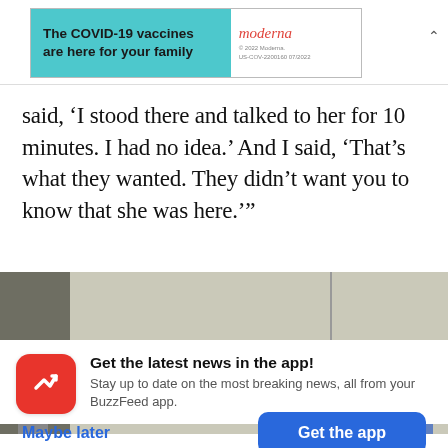[Figure (screenshot): Moderna COVID-19 vaccine advertisement banner with teal background on the left showing bold text 'The COVID-19 vaccines are here for your family' and Moderna logo on white right portion with fine print]
said, ‘I stood there and talked to her for 10 minutes. I had no idea.’ And I said, ‘That’s what they wanted. They didn’t want you to know that she was here.’”
[Figure (photo): Indoor scene showing a hallway or room interior with white walls and ceiling, dark element on left, with partial figures visible at bottom]
Get the latest news in the app! Stay up to date on the most breaking news, all from your BuzzFeed app.
Maybe later
Get the app